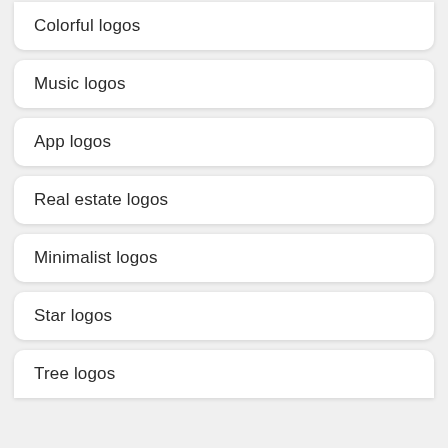Colorful logos
Music logos
App logos
Real estate logos
Minimalist logos
Star logos
Tree logos